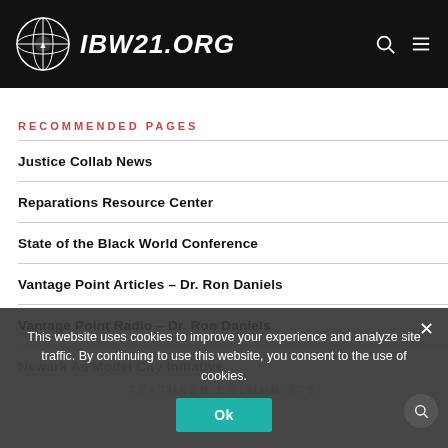IBW21.ORG
RECOMMENDED PAGES
Justice Collab News
Reparations Resource Center
State of the Black World Conference
Vantage Point Articles – Dr. Ron Daniels
Vantage Point Radio – Dr. Ron Daniels
Newark As Model City Initiative
This website uses cookies to improve your experience and analyze site traffic. By continuing to use this website, you consent to the use of cookies.
FEATURED COLUMNISTS